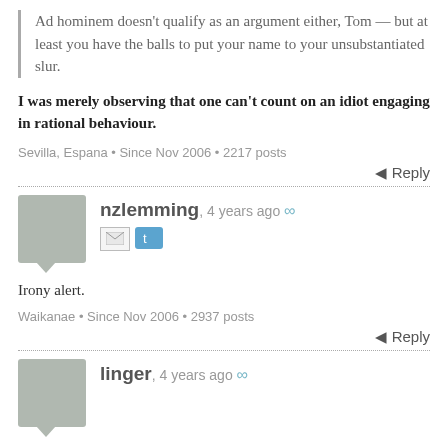Ad hominem doesn't qualify as an argument either, Tom — but at least you have the balls to put your name to your unsubstantiated slur.
I was merely observing that one can't count on an idiot engaging in rational behaviour.
Sevilla, Espana • Since Nov 2006 • 2217 posts
Reply
nzlemming, 4 years ago ∞
Irony alert.
Waikanae • Since Nov 2006 • 2937 posts
Reply
linger, 4 years ago ∞
The ACT belief that tax on unrealised income somehow counts as a real loss was also displayed by